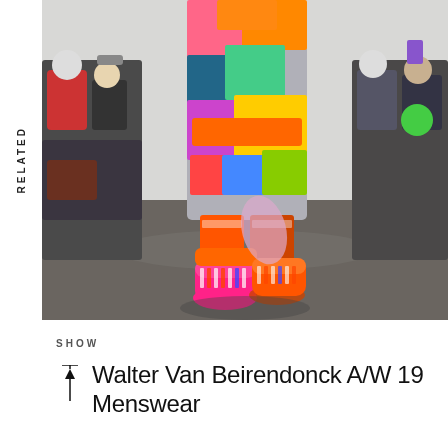RELATED
[Figure (photo): Fashion runway photo showing a model from mid-torso down wearing a colorful patchwork coat with vibrant pink, orange, green, blue patterns, and bright pink/orange moon boots with Native American-inspired decorative details. Audience seated on both sides of the runway.]
SHOW
Walter Van Beirendonck A/W 19 Menswear